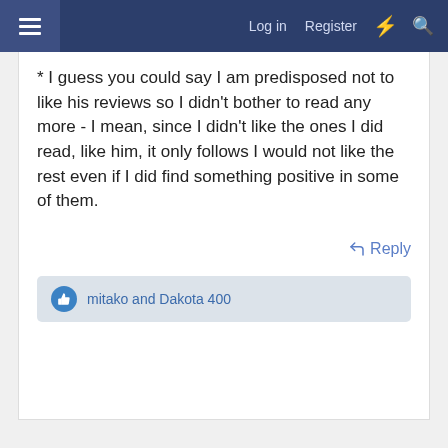Log in  Register
* I guess you could say I am predisposed not to like his reviews so I didn't bother to read any more - I mean, since I didn't like the ones I did read, like him, it only follows I would not like the rest even if I did find something positive in some of them.
Reply
mitako and Dakota 400